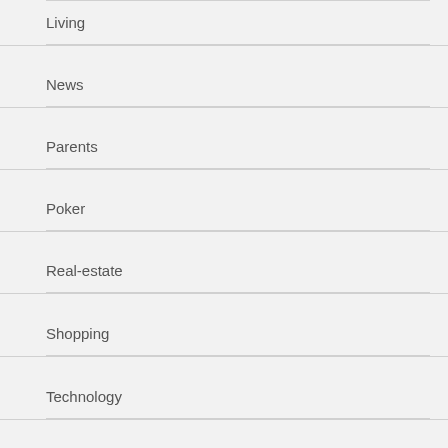Living
News
Parents
Poker
Real-estate
Shopping
Technology